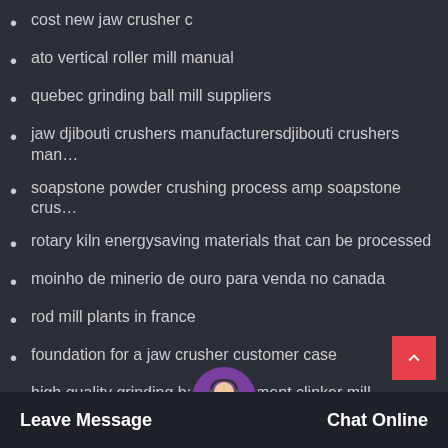cost new jaw crusher c
ato vertical roller mill manual
quebec grinding ball mill suppliers
jaw djibouti crushers manufacturersdjibouti crushers man…
soapstone powder crushing process amp soapstone crus…
rotary kiln energysaving materials that can be processed
moinho de minerio de ouro para venda no canada
rod mill plants in france
foundation for a jaw crusher customer case
high quality grinding ball r cement clinker mill
c est be best be
Leave Message   Chat Online